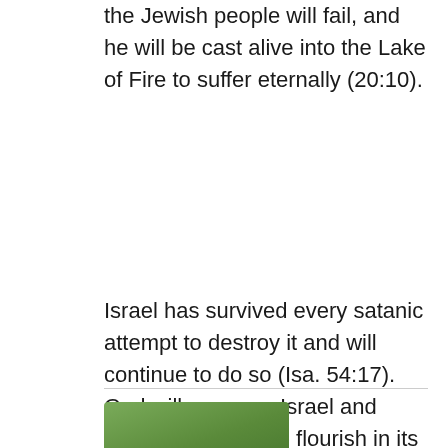the Jewish people will fail, and he will be cast alive into the Lake of Fire to suffer eternally (20:10).
Israel has survived every satanic attempt to destroy it and will continue to do so (Isa. 54:17). God will preserve Israel and cause the nation to flourish in its own land, as He has promised, because it plays a primary role in implementing God’s theocratic Kingdom on Earth after Christ’s Second Coming.
[Figure (photo): Partial photo of a person (head visible) with green foliage background, cropped at bottom of page]